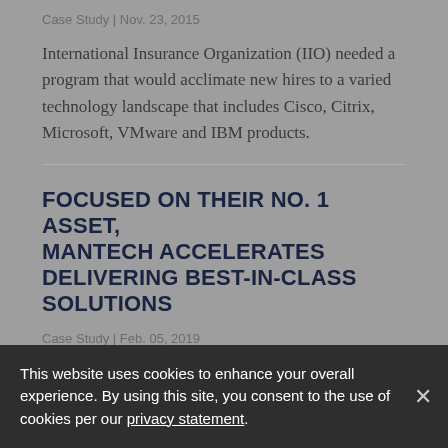Case Study | Nov. 23, 2015
International Insurance Organization (IIO) needed a program that would acclimate new hires to a varied technology landscape that includes Cisco, Citrix, Microsoft, VMware and IBM products.
FOCUSED ON THEIR NO. 1 ASSET, MANTECH ACCELERATES DELIVERING BEST-IN-CLASS SOLUTIONS
Case Study | Feb. 05, 2019
[blurred body text continues]
This website uses cookies to enhance your overall experience. By using this site, you consent to the use of cookies per our privacy statement.